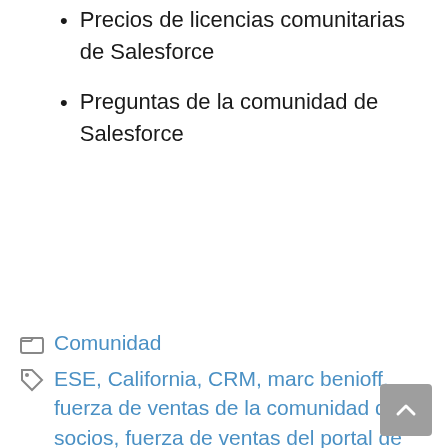Precios de licencias comunitarias de Salesforce
Preguntas de la comunidad de Salesforce
📁 Comunidad
🏷 ESE, California, CRM, marc benioff, fuerza de ventas de la comunidad de socios, fuerza de ventas del portal de socios, temas del blog de la fuerza de ventas, comunidad de la fuerza de ventas, nube comunitaria de la fuerza de ventas, Foro de desarrolladores de